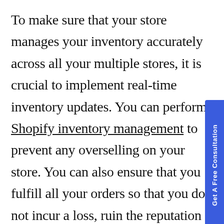To make sure that your store manages your inventory accurately across all your multiple stores, it is crucial to implement real-time inventory updates. You can perform Shopify inventory management to prevent any overselling on your store. You can also ensure that you fulfill all your orders so that you do not incur a loss, ruin the reputation of your brand, and create a very unpleasant customer experience. Inventory management in real-time helps improve the shopping experience of the customers significantly by making sure that you always have sufficient products in your stock. This centralization of the inventory for your stores will help you keep track of your products without depending on different stores.